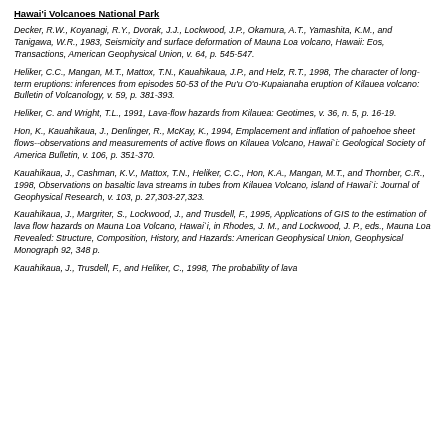Hawai'i Volcanoes National Park
Decker, R.W., Koyanagi, R.Y., Dvorak, J.J., Lockwood, J.P., Okamura, A.T., Yamashita, K.M., and Tanigawa, W.R., 1983, Seismicity and surface deformation of Mauna Loa volcano, Hawaii: Eos, Transactions, American Geophysical Union, v. 64, p. 545-547.
Heliker, C.C., Mangan, M.T., Mattox, T.N., Kauahikaua, J.P., and Helz, R.T., 1998, The character of long-term eruptions: inferences from episodes 50-53 of the Pu'u O'o-Kupaianaha eruption of Kilauea volcano: Bulletin of Volcanology, v. 59, p. 381-393.
Heliker, C. and Wright, T.L., 1991, Lava-flow hazards from Kilauea: Geotimes, v. 36, n. 5, p. 16-19.
Hon, K., Kauahikaua, J., Denlinger, R., McKay, K., 1994, Emplacement and inflation of pahoehoe sheet flows--observations and measurements of active flows on Kilauea Volcano, Hawai`i: Geological Society of America Bulletin, v. 106, p. 351-370.
Kauahikaua, J., Cashman, K.V., Mattox, T.N., Heliker, C.C., Hon, K.A., Mangan, M.T., and Thornber, C.R., 1998, Observations on basaltic lava streams in tubes from Kilauea Volcano, island of Hawai`i: Journal of Geophysical Research, v. 103, p. 27,303-27,323.
Kauahikaua, J., Margriter, S., Lockwood, J., and Trusdell, F., 1995, Applications of GIS to the estimation of lava flow hazards on Mauna Loa Volcano, Hawai`i, in Rhodes, J. M., and Lockwood, J. P., eds., Mauna Loa Revealed: Structure, Composition, History, and Hazards: American Geophysical Union, Geophysical Monograph 92, 348 p.
Kauahikaua, J., Trusdell, F., and Heliker, C., 1998, The probability of lava